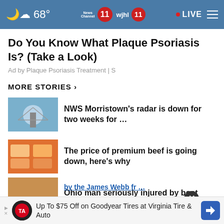68° | News Channel 11 | wjhl 11 | LIVE
Do You Know What Plaque Psoriasis Is? (Take a Look)
Ad by Plaque Psoriasis Treatment | S
MORE STORIES ›
NWS Morristown’s radar is down for two weeks for …
The price of premium beef is going down, here’s why
Ohio man seriously injured by boat propeller on Norris …
Up To $75 Off on Goodyear Tires at Virginia Tire & Auto
by the James Webb fr …